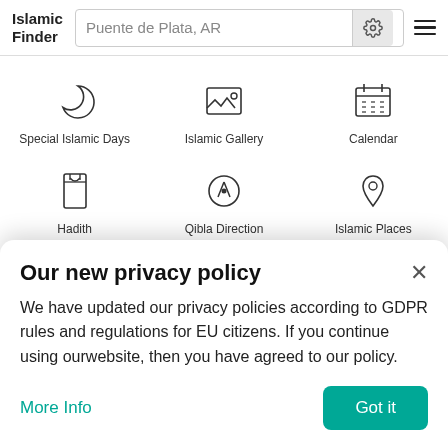Islamic Finder — Puente de Plata, AR
[Figure (screenshot): Grid of Islamic app menu icons: Special Islamic Days (crescent moon), Islamic Gallery (mountain image), Calendar (calendar grid), Hadith (book), Qibla Direction (compass), Islamic Places (location pin), plus partially visible row with up-down arrow, code brackets, calculator]
Our new privacy policy
We have updated our privacy policies according to GDPR rules and regulations for EU citizens. If you continue using ourwebsite, then you have agreed to our policy.
More Info
Got it